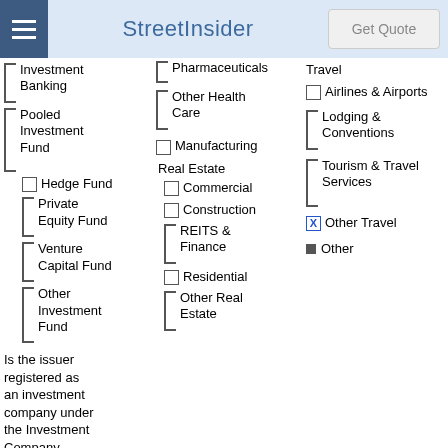StreetInsider | Get Quote
Investment Banking
Pooled Investment Fund
Hedge Fund
Private Equity Fund
Venture Capital Fund
Other Investment Fund
Pharmaceuticals
Other Health Care
Manufacturing
Real Estate
Commercial
Construction
REITS & Finance
Residential
Other Real Estate
Travel
Airlines & Airports
Lodging & Conventions
Tourism & Travel Services
Other Travel (checked)
Other
Is the issuer registered as an investment company under the Investment Company Act of 1940?
Yes
No